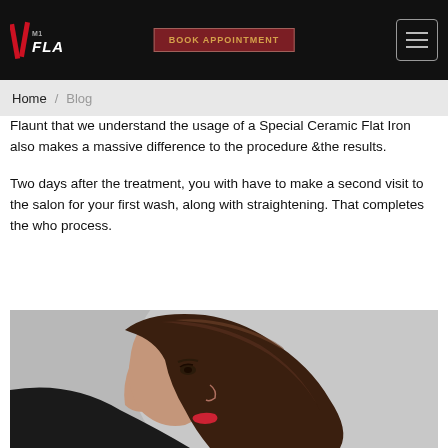BOOK APPOINTMENT | M1 FLAUNT
Flaunt that we understand the usage of a Special Ceramic Flat Iron also makes a massive difference to the procedure &the results.
Two days after the treatment, you with have to make a second visit to the salon for your first wash, along with straightening. That completes the who process.
[Figure (photo): Side profile of a woman with straight, shiny brown hair, wearing makeup with red lipstick, against a grey background.]